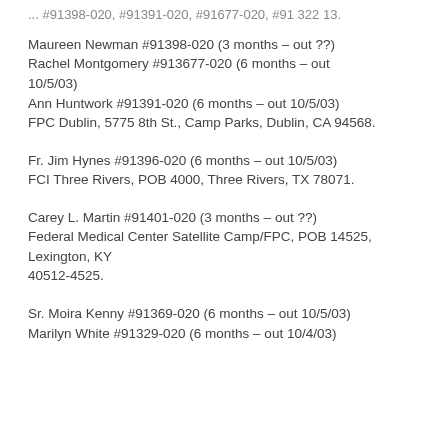... #91398-020, #91391-020, #91677-020, #91 322 13.
Maureen Newman #91398-020 (3 months – out ??)
Rachel Montgomery #913677-020 (6 months – out 10/5/03)
Ann Huntwork #91391-020 (6 months – out 10/5/03)
FPC Dublin, 5775 8th St., Camp Parks, Dublin, CA 94568.
Fr. Jim Hynes #91396-020 (6 months – out 10/5/03)
FCI Three Rivers, POB 4000, Three Rivers, TX 78071.
Carey L. Martin #91401-020 (3 months – out ??)
Federal Medical Center Satellite Camp/FPC, POB 14525, Lexington, KY
40512-4525.
Sr. Moira Kenny #91369-020 (6 months – out 10/5/03)
Marilyn White #91329-020 (6 months – out 10/4/03)